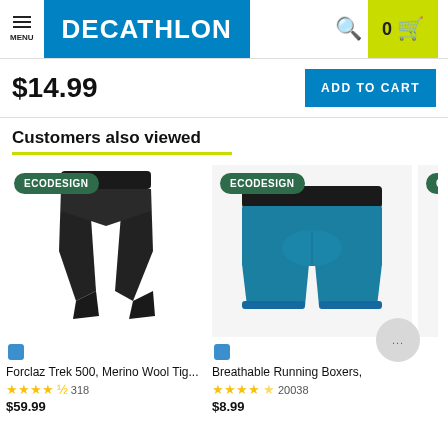DECATHLON — Menu, Search, Cart (0)
$14.99
ADD TO CART
Customers also viewed
[Figure (photo): Black Forclaz Trek 500 Merino Wool Tights (leggings) with ECODESIGN badge]
Forclaz Trek 500, Merino Wool Tig...
★★★★½  318
$59.99
[Figure (photo): Teal/blue Breathable Running Boxers with ECODESIGN badge]
Breathable Running Boxers,
★★★★½  20038
$8.99